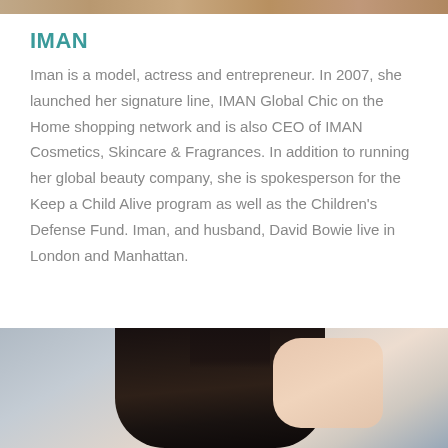[Figure (photo): Top portion of a photo of a person, cropped at the top of the page]
IMAN
Iman is a model, actress and entrepreneur. In 2007, she launched her signature line, IMAN Global Chic on the Home shopping network and is also CEO of IMAN Cosmetics, Skincare & Fragrances. In addition to running her global beauty company, she is spokesperson for the Keep a Child Alive program as well as the Children's Defense Fund. Iman, and husband, David Bowie live in London and Manhattan.
[Figure (photo): Bottom portion of the page showing the top of a woman's head with dark hair, beginning of a photo that continues below]